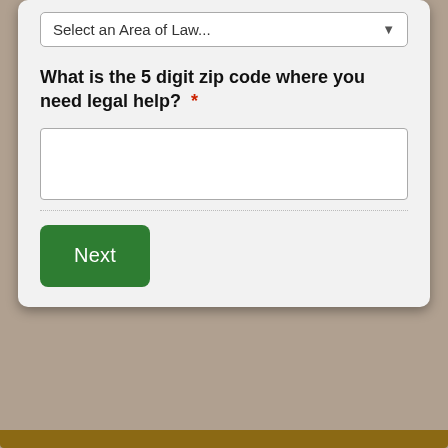[Figure (screenshot): Dropdown form field showing 'Select an Area of Law...' with arrow]
What is the 5 digit zip code where you need legal help? *
[Figure (screenshot): Empty text input box for zip code entry]
[Figure (screenshot): Green 'Next' button]